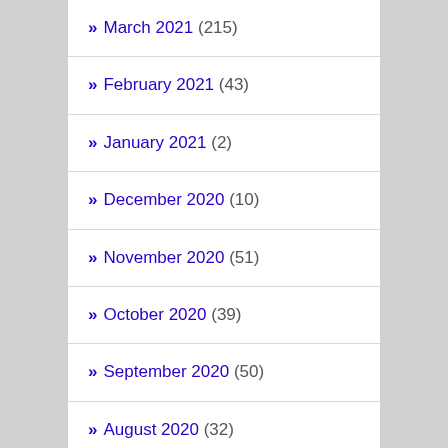March 2021 (215)
February 2021 (43)
January 2021 (2)
December 2020 (10)
November 2020 (51)
October 2020 (39)
September 2020 (50)
August 2020 (32)